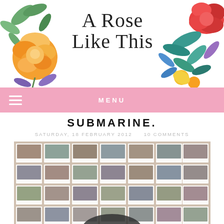[Figure (illustration): Blog header with watercolor rose and floral illustrations on left and right sides, with cursive script title 'A Rose Like This' in center]
MENU
SUBMARINE.
SATURDAY, 18 FEBRUARY 2012   10 COMMENTS
[Figure (photo): Grid of polaroid-style photographs showing couples, arranged in rows on a wall]